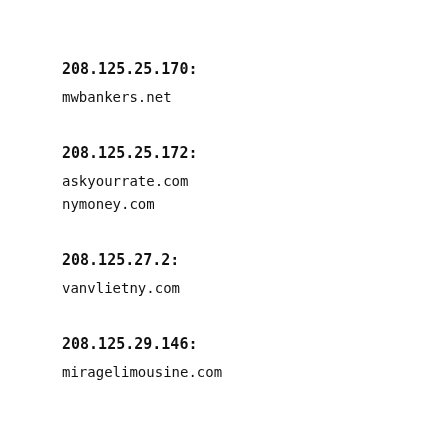208.125.25.170:
mwbankers.net
208.125.25.172:
askyourrate.com
nymoney.com
208.125.27.2:
vanvlietny.com
208.125.29.146:
miragelimousine.com